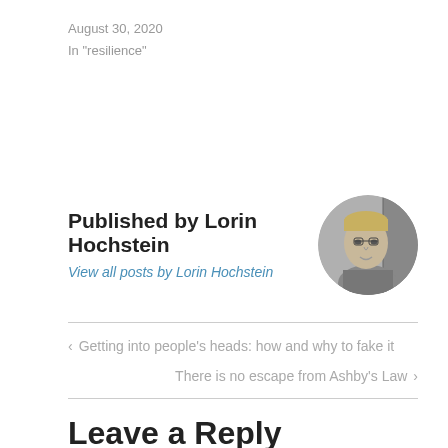August 30, 2020
In "resilience"
Published by Lorin Hochstein
View all posts by Lorin Hochstein
[Figure (photo): Circular black and white portrait photo of Lorin Hochstein]
‹ Getting into people's heads: how and why to fake it
There is no escape from Ashby's Law ›
Leave a Reply